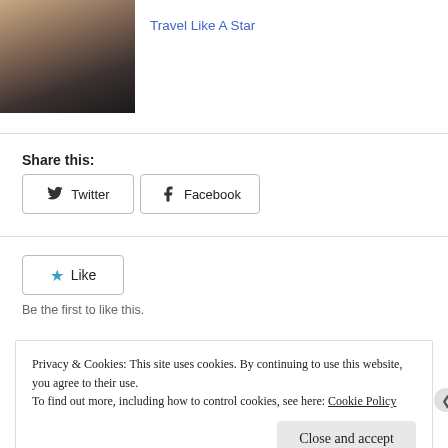[Figure (photo): Partial view of a woman's face with dark wavy hair, cropped.]
Travel Like A Star
Share this:
Twitter
Facebook
Like
Be the first to like this.
Privacy & Cookies: This site uses cookies. By continuing to use this website, you agree to their use. To find out more, including how to control cookies, see here: Cookie Policy
Close and accept